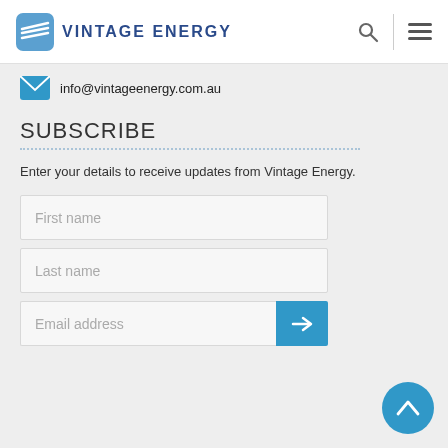Vintage Energy
info@vintageenergy.com.au
SUBSCRIBE
Enter your details to receive updates from Vintage Energy.
First name
Last name
Email address